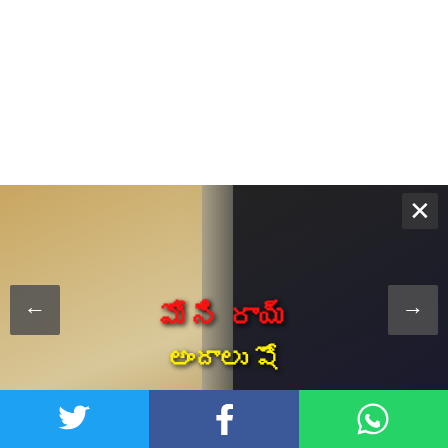[Figure (photo): Image slideshow showing two women — one in a saree and one in a black dress — with Telugu text overlay reading 'మోని రాయ్ అందాలు షో'. Navigation arrows and close button visible.]
Telugu description text in red/pink color below slideshow — two lines of Telugu script
Latest News
Online Campaign Launched
[Figure (illustration): Circular thumbnail with man in red turban; social share arrow icon on right side]
Twitter | Facebook | WhatsApp social share bar